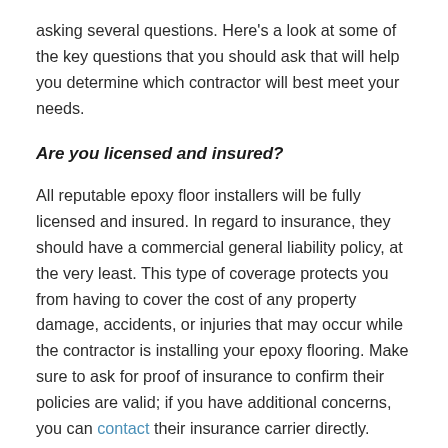asking several questions. Here's a look at some of the key questions that you should ask that will help you determine which contractor will best meet your needs.
Are you licensed and insured?
All reputable epoxy floor installers will be fully licensed and insured. In regard to insurance, they should have a commercial general liability policy, at the very least. This type of coverage protects you from having to cover the cost of any property damage, accidents, or injuries that may occur while the contractor is installing your epoxy flooring. Make sure to ask for proof of insurance to confirm their policies are valid; if you have additional concerns, you can contact their insurance carrier directly.
Licensing is also important, as it not only certifies that